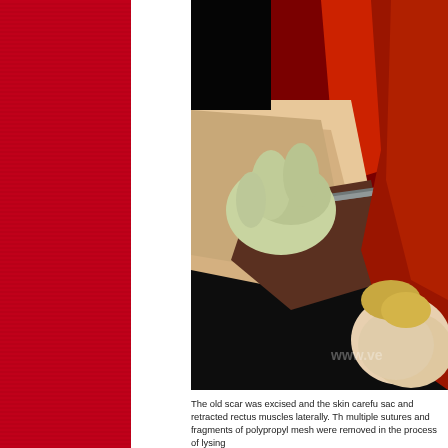[Figure (photo): Surgical photograph showing a gloved hand holding metal forceps/retractor working on exposed tissue with red muscle and fascia visible, along with bowel/organ tissue in lower right. Appears to be an abdominal surgery involving mesh removal.]
The old scar was excised and the skin carefully dissected off the sac and retracted rectus muscles laterally. There were multiple sutures and fragments of polypropylene mesh were removed in the process of lysing